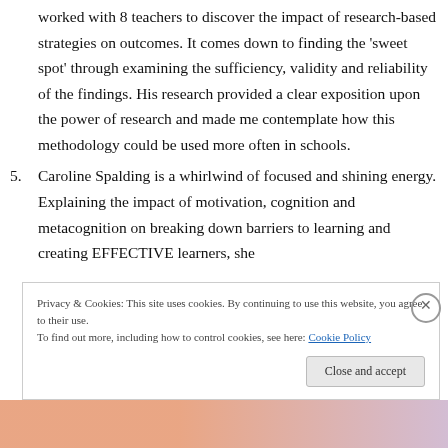worked with 8 teachers to discover the impact of research-based strategies on outcomes. It comes down to finding the 'sweet spot' through examining the sufficiency, validity and reliability of the findings. His research provided a clear exposition upon the power of research and made me contemplate how this methodology could be used more often in schools.
5. Caroline Spalding is a whirlwind of focused and shining energy. Explaining the impact of motivation, cognition and metacognition on breaking down barriers to learning and creating EFFECTIVE learners, she
Privacy & Cookies: This site uses cookies. By continuing to use this website, you agree to their use. To find out more, including how to control cookies, see here: Cookie Policy
Close and accept